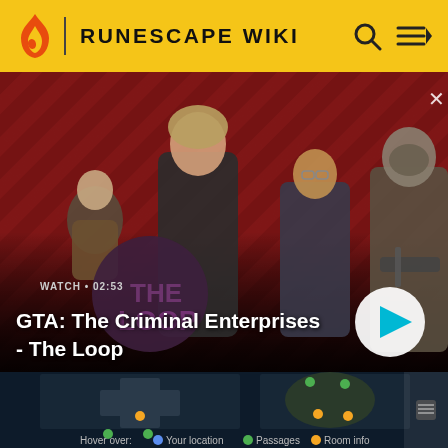RUNESCAPE WIKI
[Figure (screenshot): Video thumbnail showing GTA The Criminal Enterprises characters on a red diagonal striped background. Four characters: a shorter male, a woman in dark suit, a man with glasses, and an armored soldier with weapon. Purple circle logo overlay. WATCH • 02:53 label and play button visible. Close X button at top right.]
GTA: The Criminal Enterprises - The Loop
[Figure (screenshot): Dark game map section showing dungeon/room layout with green and orange dots indicating passages and room info. Two map sections visible side by side. Bottom legend: Hover over: Your location (blue), Passages (green), Room Info (orange).]
Hover over:  Your location  Passages  Room info